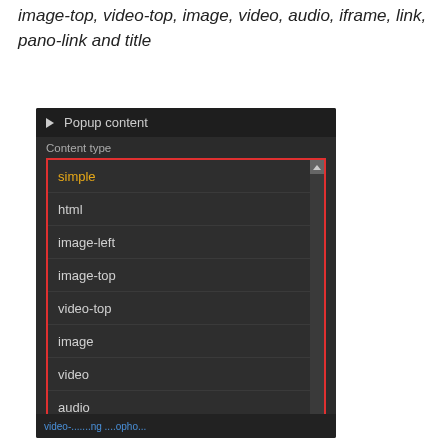image-top, video-top, image, video, audio, iframe, link, pano-link and title
[Figure (screenshot): A dark-themed UI panel showing 'Popup content' section with a 'Content type' dropdown expanded, listing options: simple (selected/highlighted in yellow), html, image-left, image-top, video-top, image, video, audio, iframe (partially visible). The dropdown has a red border outline. There is a scrollbar on the right side.]